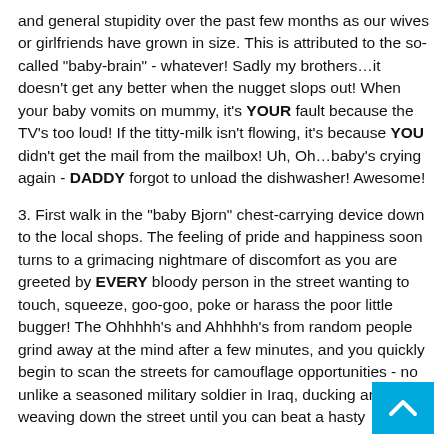and general stupidity over the past few months as our wives or girlfriends have grown in size. This is attributed to the so-called "baby-brain" - whatever! Sadly my brothers…it doesn't get any better when the nugget slops out! When your baby vomits on mummy, it's YOUR fault because the TV's too loud! If the titty-milk isn't flowing, it's because YOU didn't get the mail from the mailbox! Uh, Oh…baby's crying again - DADDY forgot to unload the dishwasher! Awesome!
3. First walk in the "baby Bjorn" chest-carrying device down to the local shops. The feeling of pride and happiness soon turns to a grimacing nightmare of discomfort as you are greeted by EVERY bloody person in the street wanting to touch, squeeze, goo-goo, poke or harass the poor little bugger! The Ohhhhh's and Ahhhhh's from random people grind away at the mind after a few minutes, and you quickly begin to scan the streets for camouflage opportunities - not unlike a seasoned military soldier in Iraq, ducking and weaving down the street until you can beat a hasty